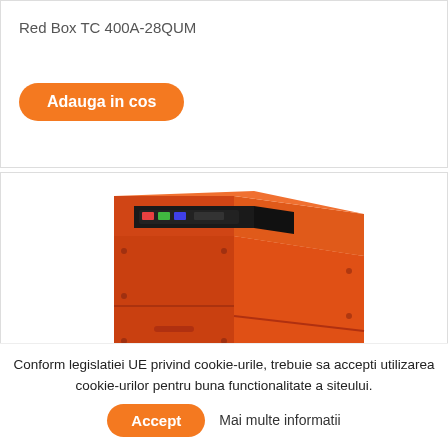Red Box TC 400A-28QUM
Adauga in cos
[Figure (photo): Red metal industrial box/cabinet (Red Box TC 400A-28QUM) with orange-red casing, control panel visible on top, angled view from front-left.]
Conform legislatiei UE privind cookie-urile, trebuie sa accepti utilizarea cookie-urilor pentru buna functionalitate a siteului.
Accept
Mai multe informatii